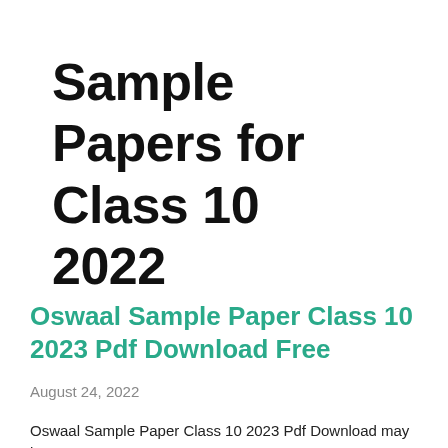Sample Papers for Class 10 2022
Oswaal Sample Paper Class 10 2023 Pdf Download Free
August 24, 2022
Oswaal Sample Paper Class 10 2023 Pdf Download may be